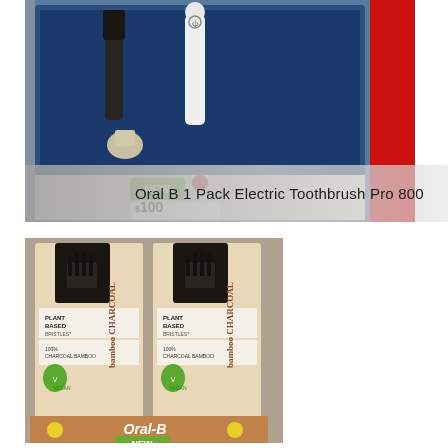[Figure (photo): Shelf display of Oral B Electric Toothbrush Pro 800 in a retail store. Shows a large in-store display screen with the product, a price tag showing NEW and $100, and a Colgate banner visible on the right side.]
Oral B 1 Pack Electric Toothbrush Pro 800
[Figure (photo): Retail shelf display of Oral-B bamboo charcoal toothbrushes. Two packages visible with black charcoal bristle heads. Labels read PLANT BASED BRISTLES, 100% CHARCOAL BAMBOO, VEGAN. Oral-B branding on the display box. NEW tag visible at bottom.]